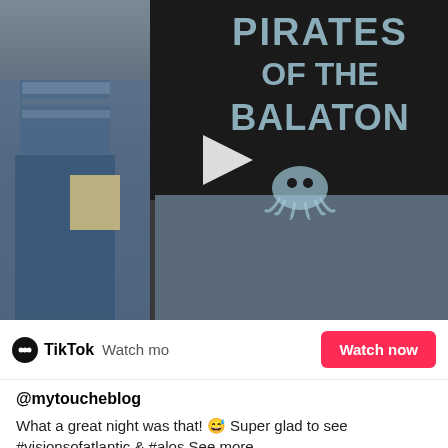[Figure (screenshot): TikTok video screenshot showing a person wearing a 'Pirates of the Balaton' black t-shirt with an octopus graphic. Right sidebar shows profile avatar with plus button, heart icon with count 1058, comment bubble icon with count 15, and share arrow icon with count 32. A play button triangle is visible in the center.]
TikTok  Watch mo  Watch now
@mytoucheblog
What a great night was that! 😅 Super glad to see #visionsofatlantic & #alos  See more